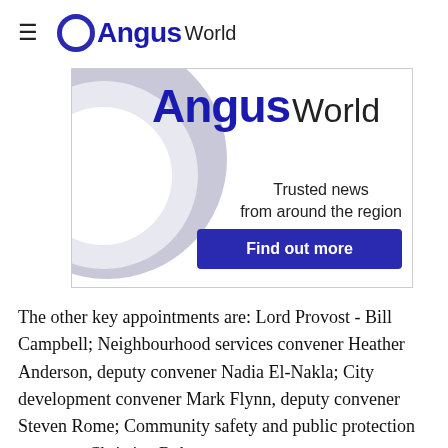OAngus World
[Figure (logo): Angus World advertisement banner with large circular logo graphic, text 'Angus World Trusted news from around the region' and a 'Find out more' button]
The other key appointments are: Lord Provost - Bill Campbell; Neighbourhood services convener Heather Anderson, deputy convener Nadia El-Nakla; City development convener Mark Flynn, deputy convener Steven Rome; Community safety and public protection convener Christina Roberts;